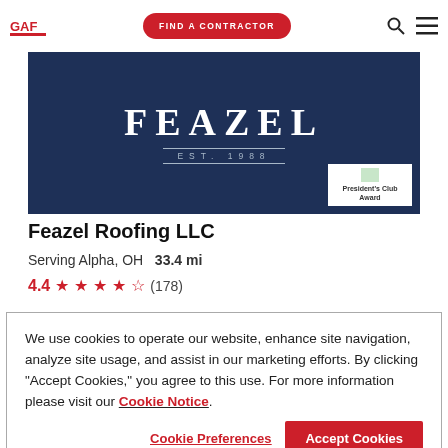GAF logo | FIND A CONTRACTOR | Search | Menu
[Figure (logo): Feazel Roofing LLC banner image with dark blue background showing FEAZEL EST. 1988 in white text, and a President's Club Award badge in the bottom right corner]
Feazel Roofing LLC
Serving Alpha, OH   33.4 mi
4.4 ★★★★½ (178)
We use cookies to operate our website, enhance site navigation, analyze site usage, and assist in our marketing efforts. By clicking "Accept Cookies," you agree to this use. For more information please visit our Cookie Notice.
Cookie Preferences | Accept Cookies